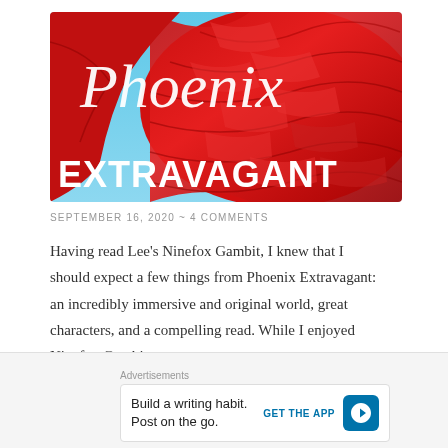[Figure (illustration): Book cover for Phoenix Extravagant — red metallic dragon scales with blue sky background. White script text 'Phoenix' at top, bold white block letters 'EXTRAVAGANT' at bottom.]
SEPTEMBER 16, 2020 ~ 4 COMMENTS
Having read Lee's Ninefox Gambit, I knew that I should expect a few things from Phoenix Extravagant: an incredibly immersive and original world, great characters, and a compelling read. While I enjoyed Ninefox Gambit, his latest novel absolutely blows it out of the water for
Advertisements
Build a writing habit.
Post on the go.
GET THE APP